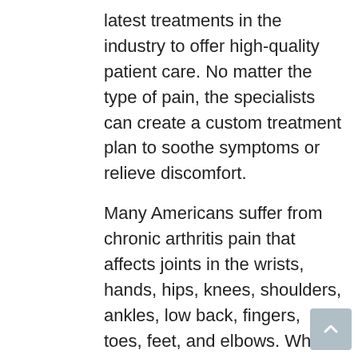latest treatments in the industry to offer high-quality patient care. No matter the type of pain, the specialists can create a custom treatment plan to soothe symptoms or relieve discomfort.
Many Americans suffer from chronic arthritis pain that affects joints in the wrists, hands, hips, knees, shoulders, ankles, low back, fingers, toes, feet, and elbows. While there are other medical solutions, the biologic therapies offered at the St. Petersburg regenerative medicine clinic stimulate tissue repair to reduce inflammation. Not only do these therapies provide long-term relief, but they also eliminate/prolong the need for surgery or prescription medication, allowing patients to regain mobility.